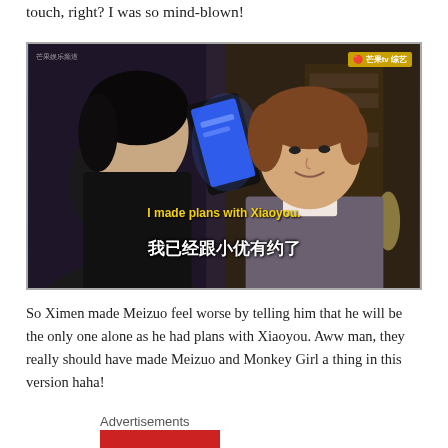touch, right? I was so mind-blown!
[Figure (screenshot): Screenshot from a Chinese TV show (芒果tv) showing two young men, one holding up a smartphone with a bright blue screen. Subtitles read 'I made plans with Xiaoyou.' in English (yellow) and '我已经跟小优有约了' in Chinese (white).]
So Ximen made Meizuo feel worse by telling him that he will be the only one alone as he had plans with Xiaoyou. Aww man, they really should have made Meizuo and Monkey Girl a thing in this version haha!
Advertisements